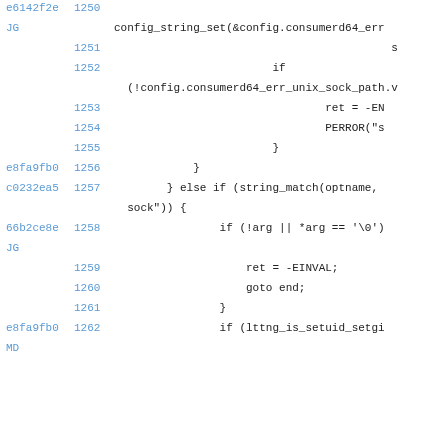Code viewer showing git blame output with line numbers 1250-1262, displaying C source code with commit hashes e6142f2e, e8fa9fb0, c0232ea5, 66b2ce8e, e8fa9fb0 and authors JG, MD.